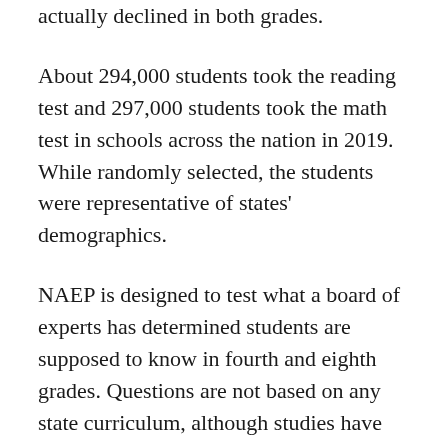actually declined in both grades.
About 294,000 students took the reading test and 297,000 students took the math test in schools across the nation in 2019. While randomly selected, the students were representative of states' demographics.
NAEP is designed to test what a board of experts has determined students are supposed to know in fourth and eighth grades. Questions are not based on any state curriculum, although studies have shown that the questions are consistent with expectations of the Common Core standards that most states, like California, have adopted partly or fully.
Los Angeles Unified, Fresno Unified and San Diego Unified are among the California districts that